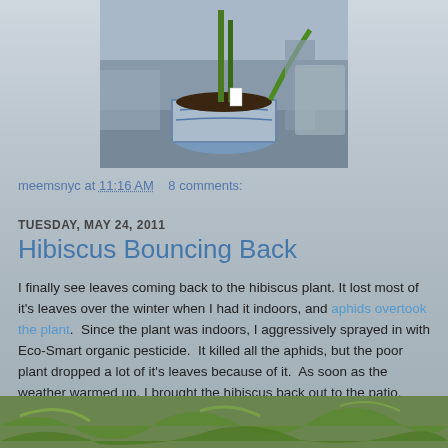[Figure (photo): Photo of a potted plant with tall green stalks in a decorative blue and white pot, sitting on a surface with other containers visible in the background]
meemsnyc at 11:16 AM   8 comments:
TUESDAY, MAY 24, 2011
Hibiscus Bouncing Back
I finally see leaves coming back to the hibiscus plant. It lost most of it's leaves over the winter when I had it indoors, and aphids overtook the plant.  Since the plant was indoors, I aggressively sprayed in with Eco-Smart organic pesticide.  It killed all the aphids, but the poor plant dropped a lot of it's leaves because of it.  As soon as the weather warmed up, I brought the hibiscus back out to the patio.  Since then it has slowly grown back some of it's leaves again!
[Figure (photo): Partial photo at bottom of page showing green leafy plants]